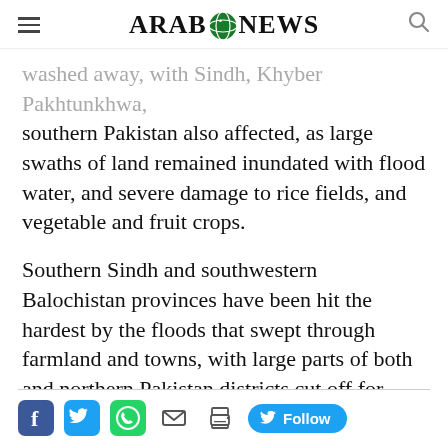ARAB NEWS
washed away, with Sindh, Khyber Pakhtunkhwa, southern Pakistan also affected, as large swaths of land remained inundated with flood water, and severe damage to rice fields, and vegetable and fruit crops.
Southern Sindh and southwestern Balochistan provinces have been hit the hardest by the floods that swept through farmland and towns, with large parts of both and northern Pakistan districts cut off for many days from the rest of the country.
Social share icons: Facebook, Twitter, WhatsApp, Email, Print, Twitter Follow button